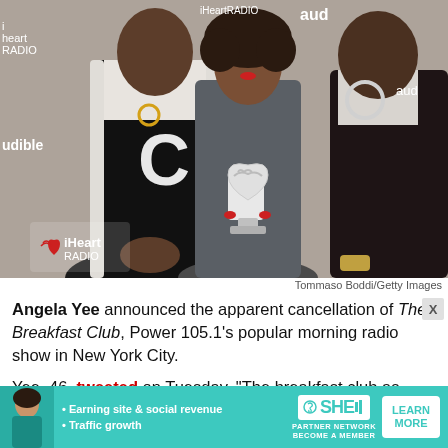[Figure (photo): Three people posing at an iHeartRadio event. The person on the left wears a black varsity jacket with a large 'C'. The person in the middle holds a heart-shaped iHeartRadio trophy and is wearing a grey outfit. The person on the right wears a dark jacket. iHeart Radio and Audible logos visible in background.]
Tommaso Boddi/Getty Images
Angela Yee announced the apparent cancellation of The Breakfast Club, Power 105.1's popular morning radio show in New York City.
Yee, 46, tweeted on Tuesday, "The breakfast club as
[Figure (infographic): Advertisement banner for SHE Media Partner Network. Teal background with woman photo on left, bullet points: Earning site & social revenue, Traffic growth. SHE Media logo in center. LEARN MORE button on right. BECOME A MEMBER text below logo.]